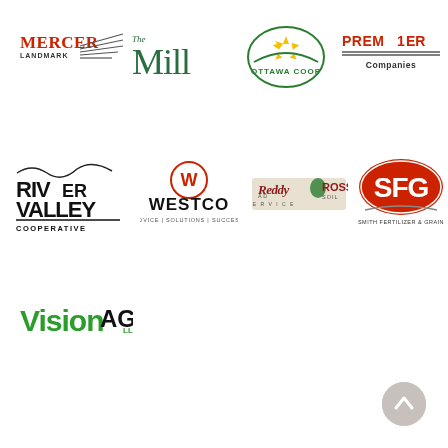[Figure (logo): Mercer Landmark logo with red text and swoosh lines]
[Figure (logo): The Mill logo in dark green serif font]
[Figure (logo): Ottawa COOP logo with green sunburst graphic]
[Figure (logo): Premier Companies logo in red with horizontal lines]
[Figure (logo): River Valley Cooperative logo in black script]
[Figure (logo): Westco logo with red W circle and tagline]
[Figure (logo): Reddy Ad Ross Soil Service logo in dark red/green]
[Figure (logo): SFG Smith Fertilizer & Grain logo in red oval]
[Figure (logo): VisionAG LLC logo in green]
[Figure (other): Scroll-up button circle with arrow]